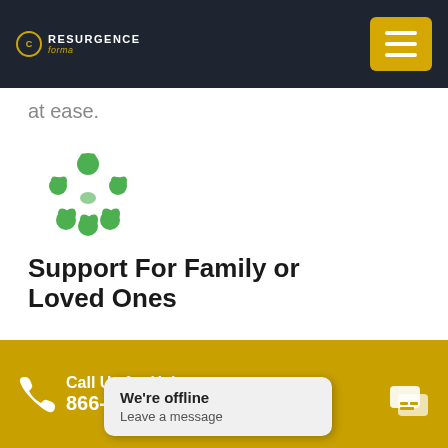Resurgence
at ease.
[Figure (illustration): Green family/community icon showing stylized people figures arranged in a flower/group pattern]
Support For Family or Loved Ones
Our aftercare treatment includes continued therapy for
Call Us for Help 866- | We're offline Leave a message